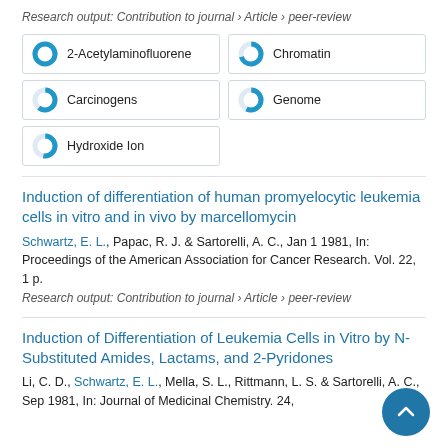Research output: Contribution to journal › Article › peer-review
[Figure (infographic): Five keyword badges with donut/pie percentage indicators: 2-Acetylaminofluorene (100%), Chromatin (~70%), Carcinogens (~60%), Genome (~55%), Hydroxide Ion (~50%)]
Induction of differentiation of human promyelocytic leukemia cells in vitro and in vivo by marcellomycin
Schwartz, E. L., Papac, R. J. & Sartorelli, A. C., Jan 1 1981, In: Proceedings of the American Association for Cancer Research. Vol. 22, 1 p.
Research output: Contribution to journal › Article › peer-review
Induction of Differentiation of Leukemia Cells in Vitro by N-Substituted Amides, Lactams, and 2-Pyridones
Li, C. D., Schwartz, E. L., Mella, S. L., Rittmann, L. S. & Sartorelli, A. C., Sep 1981, In: Journal of Medicinal Chemistry. 24,